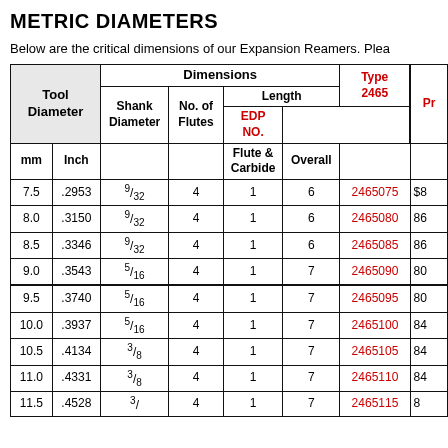METRIC DIAMETERS
Below are the critical dimensions of our Expansion Reamers. Plea...
| mm | Inch | Shank Diameter | No. of Flutes | Flute & Carbide | Overall | Type 2465 EDP NO. | Pr |
| --- | --- | --- | --- | --- | --- | --- | --- |
| 7.5 | .2953 | 9/32 | 4 | 1 | 6 | 2465075 | $8 |
| 8.0 | .3150 | 9/32 | 4 | 1 | 6 | 2465080 | 86 |
| 8.5 | .3346 | 9/32 | 4 | 1 | 6 | 2465085 | 86 |
| 9.0 | .3543 | 5/16 | 4 | 1 | 7 | 2465090 | 80 |
| 9.5 | .3740 | 5/16 | 4 | 1 | 7 | 2465095 | 80 |
| 10.0 | .3937 | 5/16 | 4 | 1 | 7 | 2465100 | 84 |
| 10.5 | .4134 | 3/8 | 4 | 1 | 7 | 2465105 | 84 |
| 11.0 | .4331 | 3/8 | 4 | 1 | 7 | 2465110 | 84 |
| 11.5 | .4528 | 3/... | 4 | 1 | 7 | 2465115 | 8... |